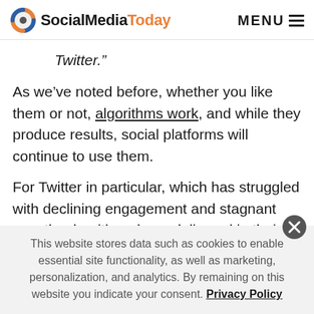SocialMediaToday | MENU
Twitter.”
As we’ve noted before, whether you like them or not, algorithms work, and while they produce results, social platforms will continue to use them.
For Twitter in particular, which has struggled with declining engagement and stagnant growth, algorithms have delivered in their time of need, which will only increase their trust in, and reliance upon them.
This website stores data such as cookies to enable essential site functionality, as well as marketing, personalization, and analytics. By remaining on this website you indicate your consent. Privacy Policy